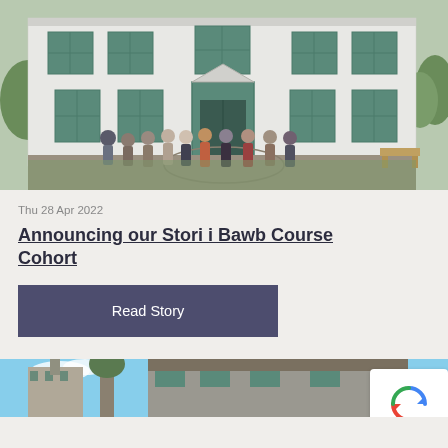[Figure (photo): Group of approximately 10 people standing in front of a large white rendered two-storey building with teal/green painted windows and central doorway, cobblestone forecourt with greenery]
Thu 28 Apr 2022
Announcing our Stori i Bawb Course Cohort
Read Story
[Figure (photo): Partial view of building exterior with blue sky, showing stone walls and roof tiles]
[Figure (other): reCAPTCHA widget overlay showing circular arrows logo and Privacy - Terms text]